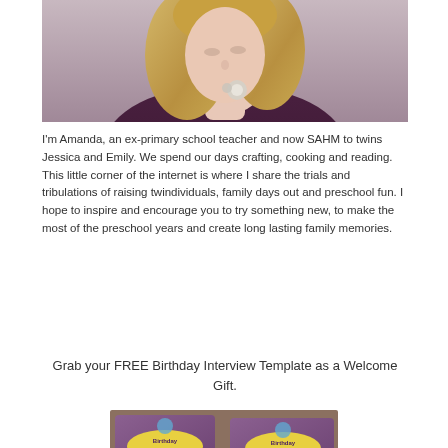[Figure (photo): Portrait photo of a blonde woman wearing a dark purple/maroon top with a decorative brooch necklace, hair in loose waves, head slightly tilted down.]
I'm Amanda, an ex-primary school teacher and now SAHM to twins Jessica and Emily. We spend our days crafting, cooking and reading. This little corner of the internet is where I share the trials and tribulations of raising twindividuals, family days out and preschool fun. I hope to inspire and encourage you to try something new, to make the most of the preschool years and create long lasting family memories.
Grab your FREE Birthday Interview Template as a Welcome Gift.
[Figure (photo): Photo of Birthday Interview printable cards/templates laid out on a surface.]